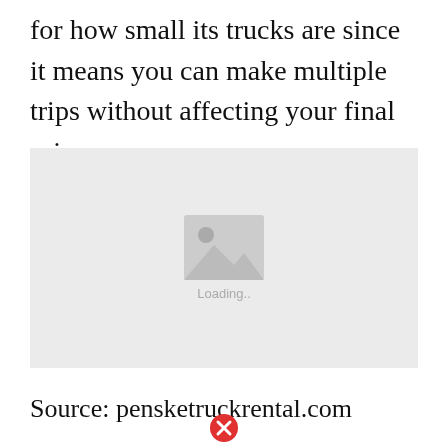for how small its trucks are since it means you can make multiple trips without affecting your final price.
[Figure (photo): Image placeholder with loading indicator showing a grey box with a mountain/image icon and 'Loading..' text below it]
Source: pensketruckrental.com